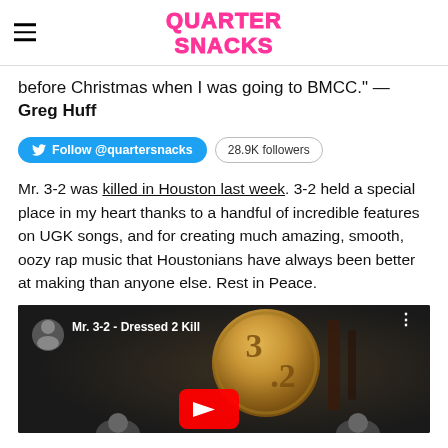QUARTER SNACKS
before Christmas when I was going to BMCC." — Greg Huff
Follow @quartersnacks  28.9K followers
Mr. 3-2 was killed in Houston last week. 3-2 held a special place in my heart thanks to a handful of incredible features on UGK songs, and for creating much amazing, smooth, oozy rap music that Houstonians have always been better at making than anyone else. Rest in Peace.
[Figure (screenshot): YouTube video thumbnail for 'Mr. 3-2 - Dressed 2 Kill' showing a gold medallion with '3.2' and a YouTube play button, with a channel avatar and video title overlay.]